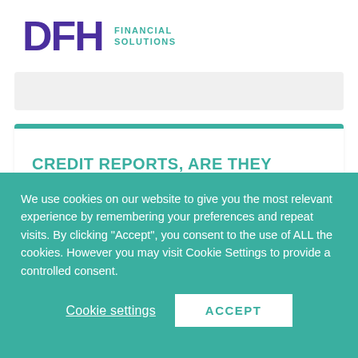DFH FINANCIAL SOLUTIONS
CREDIT REPORTS, ARE THEY WORTH CHECKING OUT?
We use cookies on our website to give you the most relevant experience by remembering your preferences and repeat visits. By clicking “Accept”, you consent to the use of ALL the cookies. However you may visit Cookie Settings to provide a controlled consent.
Cookie settings | ACCEPT